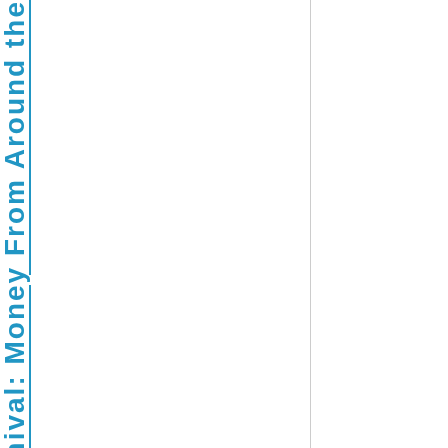Carnival: Money From Around the